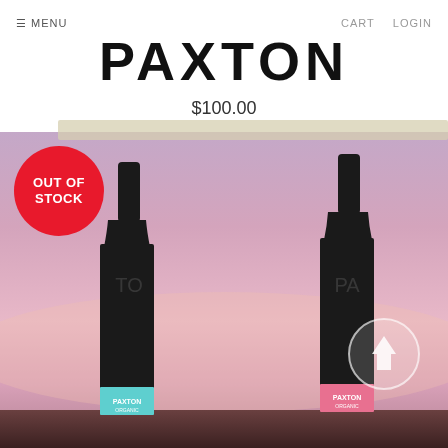≡ MENU    CART   LOGIN
PAXTON
$100.00
[Figure (photo): Product page for Paxton wines showing three dark wine bottles with Paxton labels against a purple/pink gradient sunset sky background, with a red 'OUT OF STOCK' badge overlay and a scroll-up button]
OUT OF STOCK